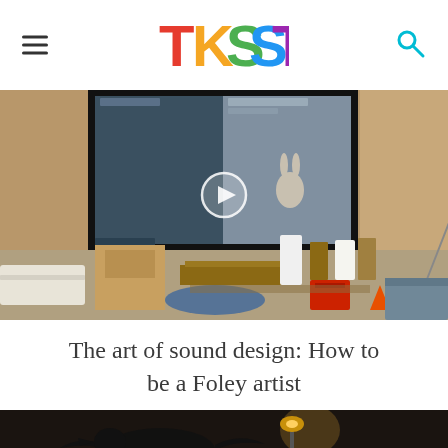TKSST
[Figure (screenshot): A Foley studio with a large screen showing an animated character (rabbit), various props including chairs, cones, mattress, and equipment on the floor. A video play button is visible in the center.]
The art of sound design: How to be a Foley artist
[Figure (photo): Dark nighttime street scene with birds and street lamps visible]